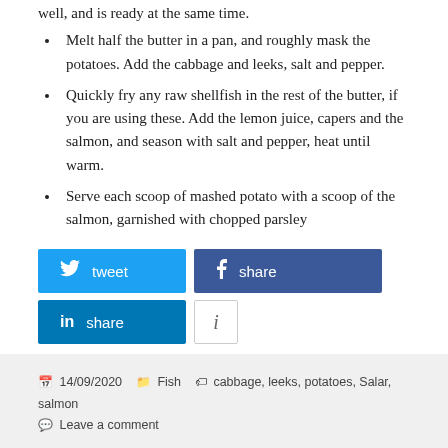Melt half the butter in a pan, and roughly mask the potatoes. Add the cabbage and leeks, salt and pepper.
Quickly fry any raw shellfish in the rest of the butter, if you are using these. Add the lemon juice, capers and the salmon, and season with salt and pepper, heat until warm.
Serve each scoop of mashed potato with a scoop of the salmon, garnished with chopped parsley
[Figure (infographic): Social sharing buttons: tweet (Twitter, blue), share (Facebook, dark blue), share (LinkedIn, blue), info button (white with border)]
14/09/2020  Fish  cabbage, leeks, potatoes, Salar, salmon  Leave a comment